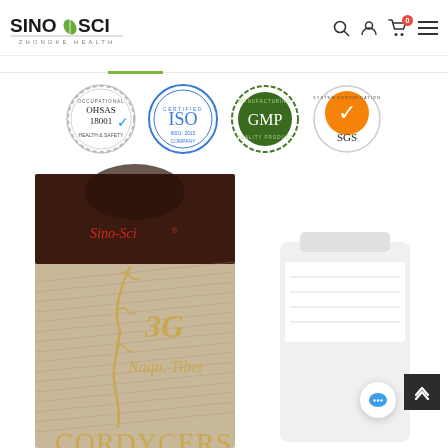[Figure (logo): Sino-Sci Zhongke Health logo with green leaf icon]
[Figure (infographic): Row of four certification logos: OHSAS 18001, ISO certified company, GMP manufacturing quality, SGS system certification with orange checkmark]
[Figure (photo): Product photo showing Sino-Sci branded Cordyceps product box (3G Naqu Tibet Cordycers) with dark brown top and gold design, alongside a white bottle/jar]